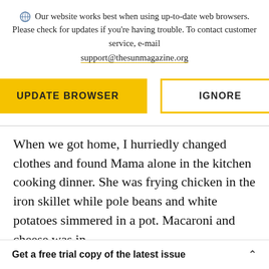Our website works best when using up-to-date web browsers. Please check for updates if you're having trouble. To contact customer service, e-mail support@thesunmagazine.org
[Figure (other): Two buttons: a filled yellow 'UPDATE BROWSER' button and an outlined yellow 'IGNORE' button]
When we got home, I hurriedly changed clothes and found Mama alone in the kitchen cooking dinner. She was frying chicken in the iron skillet while pole beans and white potatoes simmered in a pot. Macaroni and cheese was in
Get a free trial copy of the latest issue